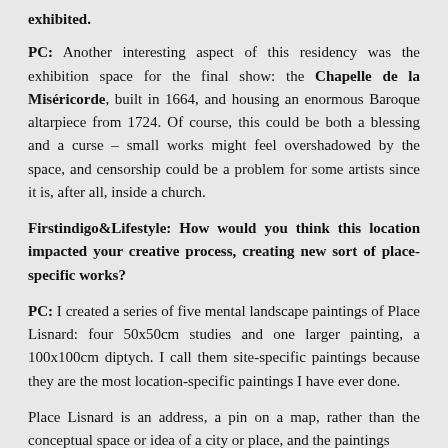exhibited.
PC: Another interesting aspect of this residency was the exhibition space for the final show: the Chapelle de la Miséricorde, built in 1664, and housing an enormous Baroque altarpiece from 1724. Of course, this could be both a blessing and a curse – small works might feel overshadowed by the space, and censorship could be a problem for some artists since it is, after all, inside a church.
Firstindigo&Lifestyle: How would you think this location impacted your creative process, creating new sort of place-specific works?
PC: I created a series of five mental landscape paintings of Place Lisnard: four 50x50cm studies and one larger painting, a 100x100cm diptych. I call them site-specific paintings because they are the most location-specific paintings I have ever done.
Place Lisnard is an address, a pin on a map, rather than the conceptual space or idea of a city or place, and the paintings